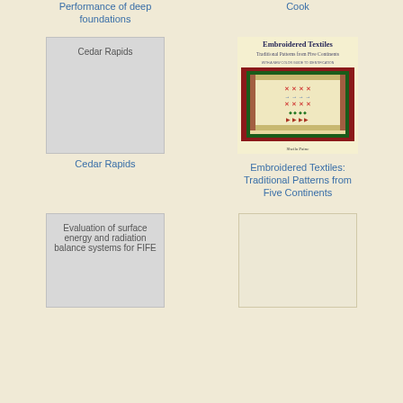Performance of deep foundations
Cook
[Figure (illustration): Book cover placeholder showing text 'Cedar Rapids' on gray background]
[Figure (photo): Book cover of 'Embroidered Textiles: Traditional Patterns from Five Continents' showing colorful embroidered textile artwork]
Cedar Rapids
Embroidered Textiles: Traditional Patterns from Five Continents
[Figure (illustration): Book cover placeholder showing text 'Evaluation of surface energy and radiation balance systems for FIFE' on gray background]
[Figure (illustration): Book cover placeholder, blank cream/off-white colored]